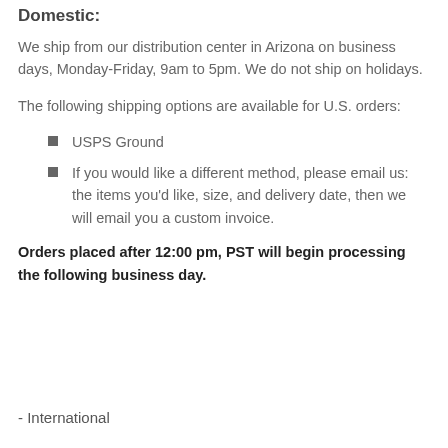Domestic:
We ship from our distribution center in Arizona on business days, Monday-Friday, 9am to 5pm. We do not ship on holidays.
The following shipping options are available for U.S. orders:
USPS Ground
If you would like a different method, please email us: the items you'd like, size, and delivery date, then we will email you a custom invoice.
Orders placed after 12:00 pm, PST will begin processing the following business day.
- International